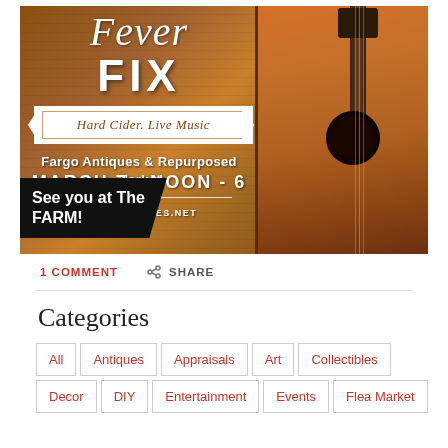[Figure (illustration): Promotional poster for Fargo Antiques & Repurposed Market event. Wooden background with guitar on right. Text reads: Fever FIX, Hard Cider. Live Music, Fargo Antiques & Repurposed Market, MARCH 7 • NOON - 6 PM, FARMANTIQUES.NET. Black tag says See you at The FARM!]
1 COMMENT
SHARE
Categories
All
Antiques
Appraisals
Art
Collectibles
Decor
DIY
Entertainment
Events
Flea Market